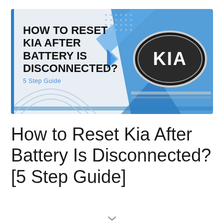[Figure (illustration): Banner image for a blog post article header. Light blue/gray background with blue diagonal geometric shapes and accent elements including concentric circle arc outlines in bottom left and a grid dot pattern in top center. On the right side is a close-up photo of a Kia car badge (oval logo with 'KIA' text in white on dark background). On the left portion of the banner is bold black uppercase text reading 'HOW TO RESET KIA AFTER BATTERY IS DISCONNECTED?' and below it in blue smaller text '5 Step Guide'.]
How to Reset Kia After Battery Is Disconnected? [5 Step Guide]